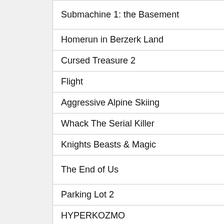| Game | Genre |
| --- | --- |
| Submachine 1: the Basement | Adventure |
| Homerun in Berzerk Land | Arcade |
| Cursed Treasure 2 | Tower Defense |
| Flight | Arcade |
| Aggressive Alpine Skiing | Sports |
| Whack The Serial Killer | Toy |
| Knights Beasts & Magic | Strategy |
| The End of Us | Toy |
| Parking Lot 2 | Driving |
| HYPERKOZMO | Arcade |
| Emo Game | Action |
| 7up Pinball | Pinball |
| Survivor Samoa | Puzzle |
| Robot Wants JIG | Platformer |